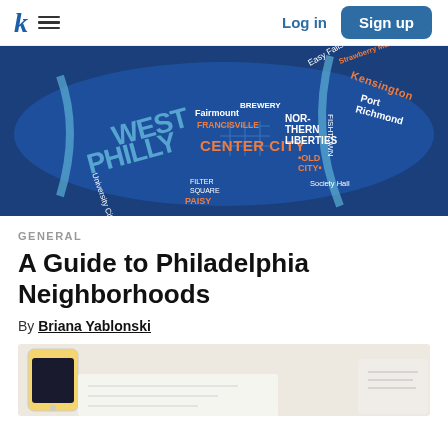k ≡  Log in  Sign up
[Figure (map): Illustrated blue map of Philadelphia neighborhoods including West Philly, Center City, Northern Liberties, Port Richmond, Kensington, Fairmount, Francisville, Old City, and others.]
GENERAL
A Guide to Philadelphia Neighborhoods
By Briana Yablonski
[Figure (photo): Partial view of a smartphone on a surface, bottom of page.]